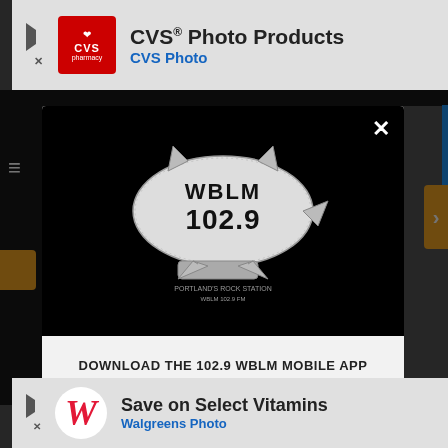[Figure (screenshot): CVS Photo Products advertisement banner at top with CVS red logo, text 'CVS Photo Products' and 'CVS Photo', and a blue diamond navigation arrow]
[Figure (logo): WBLM 102.9 radio station logo showing a blimp/dirigible with text 'WBLM 102.9' on it, on a black background]
DOWNLOAD THE 102.9 WBLM MOBILE APP
GET OUR FREE MOBILE APP
Also listen on: amazon alexa
[Figure (screenshot): Walgreens advertisement banner at bottom with Walgreens W logo, text 'Save on Select Vitamins' and 'Walgreens Photo', and a blue diamond navigation arrow]